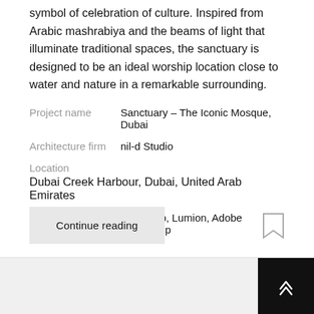symbol of celebration of culture. Inspired from Arabic mashrabiya and the beams of light that illuminate traditional spaces, the sanctuary is designed to be an ideal worship location close to water and nature in a remarkable surrounding.
Project name   Sanctuary – The Iconic Mosque, Dubai
Architecture firm   nil-d Studio
Location   Dubai Creek Harbour, Dubai, United Arab Emirates
Tools used   SketchUp, Lumion, Adobe Photoshop
Continue reading